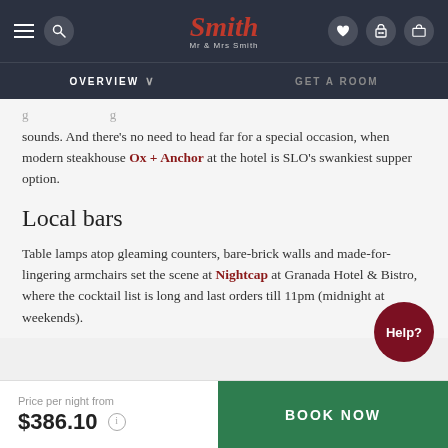Mr & Mrs Smith — OVERVIEW | GET A ROOM
sounds. And there's no need to head far for a special occasion, when modern steakhouse Ox + Anchor at the hotel is SLO's swankiest supper option.
Local bars
Table lamps atop gleaming counters, bare-brick walls and made-for-lingering armchairs set the scene at Nightcap at Granada Hotel & Bistro, where the cocktail list is long and last orders till 11pm (midnight at weekends).
Price per night from $386.10 | BOOK NOW